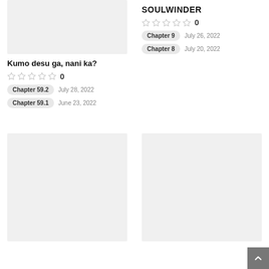[Figure (illustration): Cover image placeholder for Kumo desu ga, nani ka? (light gray rectangle)]
Kumo desu ga, nani ka?
0 stars rating: 0
Chapter 59.2   July 28, 2022
Chapter 59.1   June 23, 2022
SOULWINDER
0 stars rating: 0
Chapter 9   July 26, 2022
Chapter 8   July 20, 2022
[Figure (illustration): Cover image placeholder bottom-left (light gray rectangle)]
[Figure (illustration): Cover image placeholder bottom-right (light gray rectangle)]